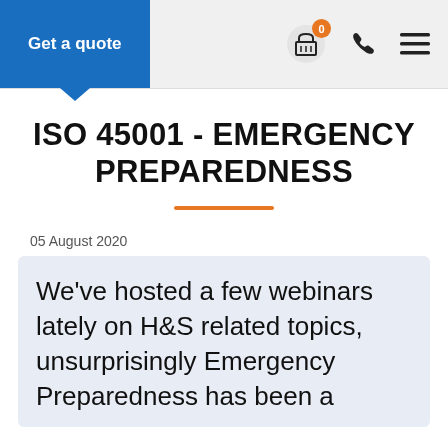Get a quote | 0 | [basket icon] | [phone icon] | [menu icon]
ISO 45001 - EMERGENCY PREPAREDNESS
05 August 2020
We've hosted a few webinars lately on H&S related topics, unsurprisingly Emergency Preparedness has been a